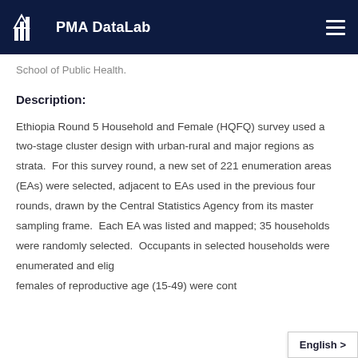PMA DataLab
School of Public Health.
Description:
Ethiopia Round 5 Household and Female (HQFQ) survey used a two-stage cluster design with urban-rural and major regions as strata.  For this survey round, a new set of 221 enumeration areas (EAs) were selected, adjacent to EAs used in the previous four rounds, drawn by the Central Statistics Agency from its master sampling frame.  Each EA was listed and mapped; 35 households were randomly selected.  Occupants in selected households were enumerated and eligible females of reproductive age (15-49) were cont